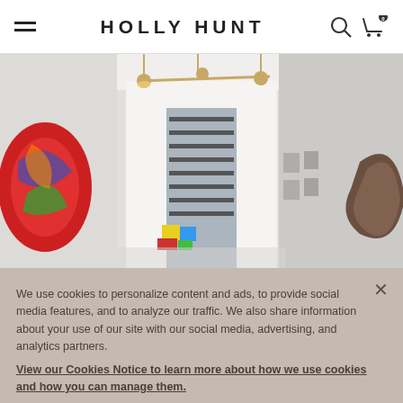HOLLY HUNT
[Figure (photo): Interior showroom photo featuring a modern space with a glass staircase, colorful artwork on the left wall, brass pendant lighting, white walls, and contemporary furniture]
We use cookies to personalize content and ads, to provide social media features, and to analyze our traffic. We also share information about your use of our site with our social media, advertising, and analytics partners.
View our Cookies Notice to learn more about how we use cookies and how you can manage them.
Cookies Settings
Accept All Cookies